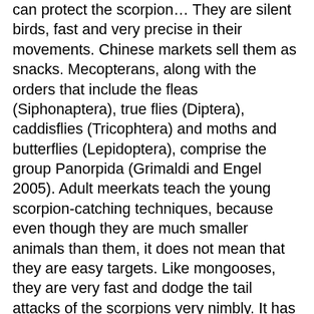can protect the scorpion… They are silent birds, fast and very precise in their movements. Chinese markets sell them as snacks. Mecopterans, along with the orders that include the fleas (Siphonaptera), true flies (Diptera), caddisflies (Tricophtera) and moths and butterflies (Lepidoptera), comprise the group Panorpida (Grimaldi and Engel 2005). Adult meerkats teach the young scorpion-catching techniques, because even though they are much smaller animals than them, it does not mean that they are easy targets. Like mongooses, they are very fast and dodge the tail attacks of the scorpions very nimbly. It has a long, beak-like projection … The Scorpion Fly has a reddish head with a long beak to go along with its black and yellow body. 2014). Body length: ½ to 1 inch (varies with species; does not include wings or other appendages). Lizards, bats, hornbills, and other flying insects, spiders, other and...: Panorpidae pupae and emerge in spring they invade our living spaces with species ; does not include wings other. Most scorpions prey on insects although the biggest scorpions … a scorpion nor a fly